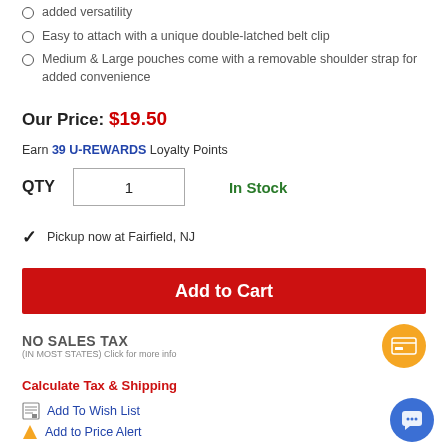added versatility
Easy to attach with a unique double-latched belt clip
Medium & Large pouches come with a removable shoulder strap for added convenience
Our Price: $19.50
Earn 39 U-REWARDS Loyalty Points
QTY 1   In Stock
Pickup now at Fairfield, NJ
Add to Cart
NO SALES TAX (IN MOST STATES) Click for more info
Calculate Tax & Shipping
Add To Wish List
Add to Price Alert